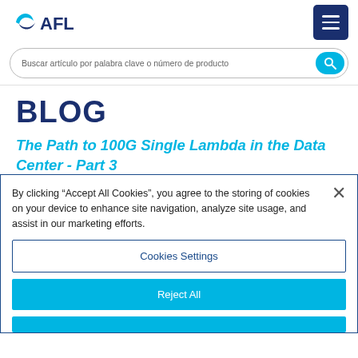[Figure (logo): AFL logo with blue checkmark-like icon and AFL text in dark blue/black]
Buscar artículo por palabra clave o número de producto
BLOG
The Path to 100G Single Lambda in the Data Center - Part 3
By clicking “Accept All Cookies”, you agree to the storing of cookies on your device to enhance site navigation, analyze site usage, and assist in our marketing efforts.
Cookies Settings
Reject All